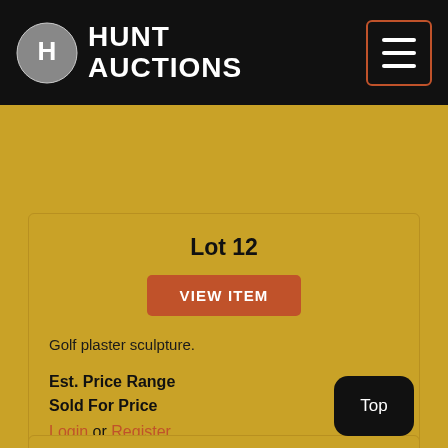HUNT AUCTIONS
Lot 12
VIEW ITEM
Golf plaster sculpture.
Est. Price Range
Sold For Price
Login or Register